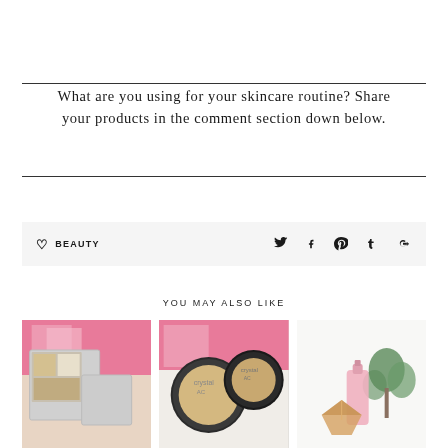What are you using for your skincare routine? Share your products in the comment section down below.
♡ BEAUTY
[Figure (illustration): Social media share icons: Twitter, Facebook, Pinterest, Tumblr, Google+]
YOU MAY ALSO LIKE
[Figure (photo): Photo of makeup palette with highlighter shades and pink flowers in background]
[Figure (photo): Photo of two round compact powder highlighters with pink flowers in background]
[Figure (photo): Photo of skincare bottle and plant on white background with gold geometric container]